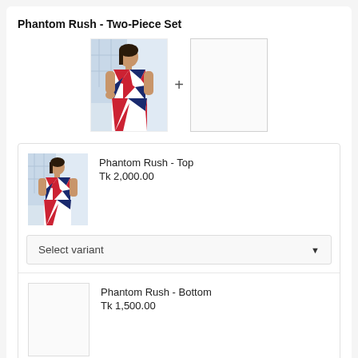Phantom Rush - Two-Piece Set
[Figure (photo): Photo of a woman wearing a colorful red, white and blue patterned two-piece set, standing in front of a building]
[Figure (photo): Empty placeholder image box]
Phantom Rush - Top
Tk 2,000.00
Select variant
Phantom Rush - Bottom
Tk 1,500.00